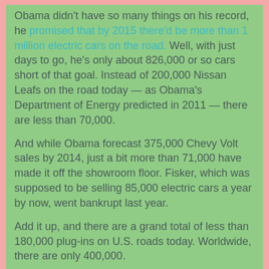Obama didn't have so many things on his record, he promised that by 2015 there'd be more than 1 million electric cars on the road. Well, with just days to go, he's only about 826,000 or so cars short of that goal. Instead of 200,000 Nissan Leafs on the road today — as Obama's Department of Energy predicted in 2011 — there are less than 70,000.
And while Obama forecast 375,000 Chevy Volt sales by 2014, just a bit more than 71,000 have made it off the showroom floor. Fisker, which was supposed to be selling 85,000 electric cars a year by now, went bankrupt last year.
Add it up, and there are a grand total of less than 180,000 plug-ins on U.S. roads today. Worldwide, there are only 400,000.
I don't see what people find so entrancing about coal-burning by proxy cars (at least in most of the United States). But with most liberal goals, it's all about the good intentions, and not so much about the reality.